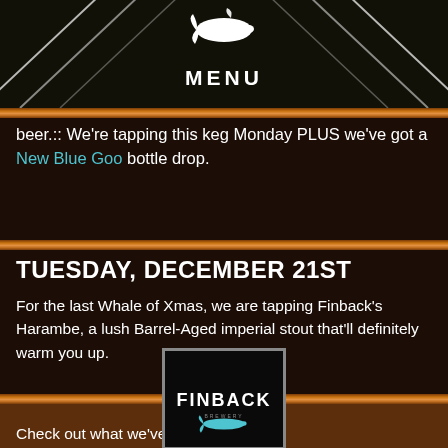MENU
beer.:: We're tapping this keg Monday PLUS we've got a New Blue Goo bottle drop.
TUESDAY, DECEMBER 21ST
For the last Whale of Xmas, we are tapping Finback's Harambe, a lush Barrel-Aged imperial stout that'll definitely warm you up.
[Figure (logo): Finback Brewery logo — white text 'FINBACK' with a whale silhouette on a black background, inside a white-bordered square]
Check out what we've got on tap now.